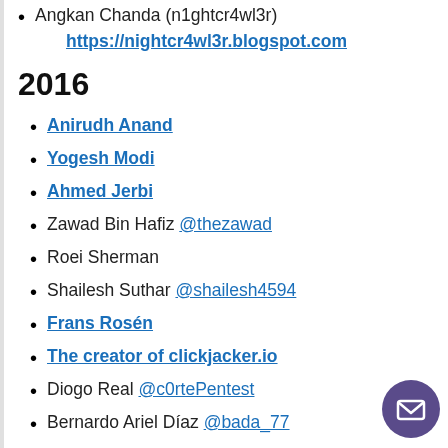Angkan Chanda (n1ghtcr4wl3r) https://nightcr4wl3r.blogspot.com
2016
Anirudh Anand
Yogesh Modi
Ahmed Jerbi
Zawad Bin Hafiz @thezawad
Roei Sherman
Shailesh Suthar @shailesh4594
Frans Rosén
The creator of clickjacker.io
Diogo Real @c0rtePentest
Bernardo Ariel Díaz @bada_77